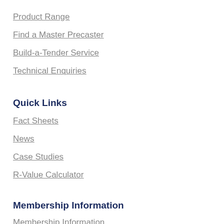Product Range
Find a Master Precaster
Build-a-Tender Service
Technical Enquiries
Quick Links
Fact Sheets
News
Case Studies
R-Value Calculator
Membership Information
Membership Information